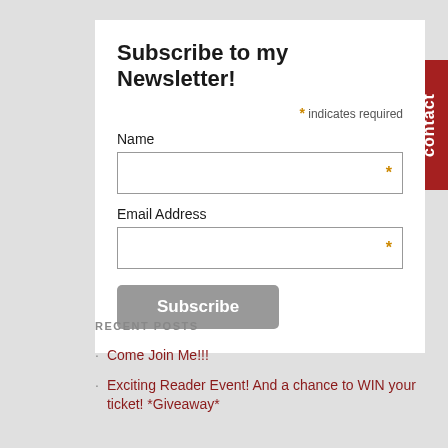Subscribe to my Newsletter!
* indicates required
Name
Email Address
Subscribe
contact
RECENT POSTS
Come Join Me!!!
Exciting Reader Event! And a chance to WIN your ticket! *Giveaway*